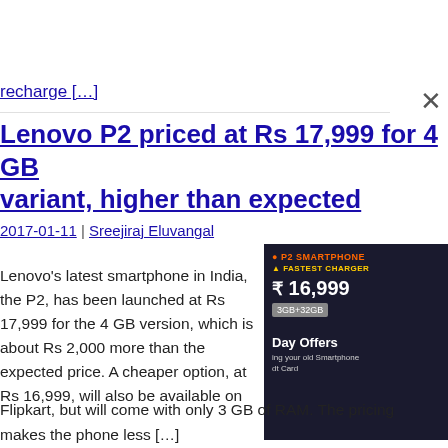recharge […]
Lenovo P2 priced at Rs 17,999 for 4 GB variant, higher than expected
2017-01-11 | Sreejiraj Eluvangal
Lenovo's latest smartphone in India, the P2, has been launched at Rs 17,999 for the 4 GB version, which is about Rs 2,000 more than the expected price. A cheaper option, at Rs 16,999, will also be available on Flipkart, but will come with only 3 GB of RAM. The pricing makes the phone less […]
[Figure (photo): Lenovo P2 smartphone promotional image showing price Rs 16,999 for 3GB+32GB variant with Day Offers banner]